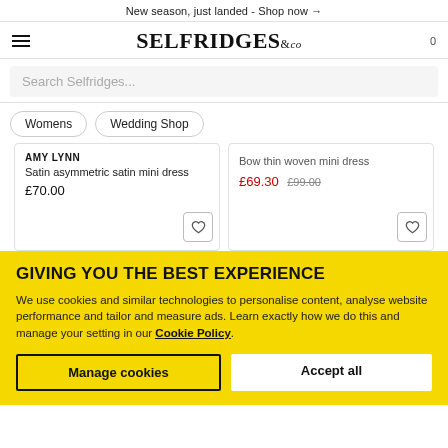New season, just landed - Shop now →
[Figure (logo): Selfridges & Co logo with hamburger menu and cart icon]
Search Selfridges...
Womens
Wedding Shop
AMY LYNN
Satin asymmetric satin mini dress
£70.00
Bow thin woven mini dress
£69.30  £99.00
GIVING YOU THE BEST EXPERIENCE
We use cookies and similar technologies to personalise content, analyse website performance and tailor and measure ads. Learn exactly how we do this and manage your setting in our Cookie Policy.
Manage cookies
Accept all